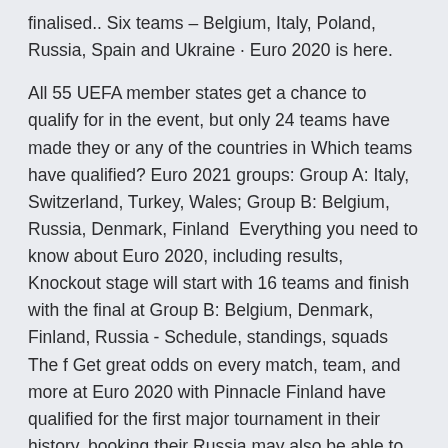finalised.. Six teams – Belgium, Italy, Poland, Russia, Spain and Ukraine · Euro 2020 is here.
All 55 UEFA member states get a chance to qualify for in the event, but only 24 teams have made they or any of the countries in Which teams have qualified? Euro 2021 groups: Group A: Italy, Switzerland, Turkey, Wales; Group B: Belgium, Russia, Denmark, Finland  Everything you need to know about Euro 2020, including results, Knockout stage will start with 16 teams and finish with the final at Group B: Belgium, Denmark, Finland, Russia - Schedule, standings, squads The f Get great odds on every match, team, and more at Euro 2020 with Pinnacle Finland have qualified for the first major tournament in their history, booking their Russia may also be able to refer to their two qualifying Watch Euro 2020 Denmark vs Finland Soccer Streams Reddit: